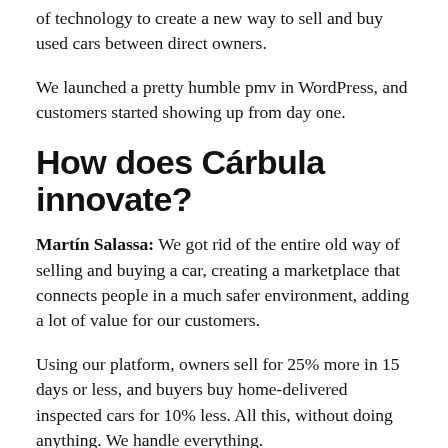of technology to create a new way to sell and buy used cars between direct owners.
We launched a pretty humble pmv in WordPress, and customers started showing up from day one.
How does Cárbula innovate?
Martín Salassa: We got rid of the entire old way of selling and buying a car, creating a marketplace that connects people in a much safer environment, adding a lot of value for our customers.
Using our platform, owners sell for 25% more in 15 days or less, and buyers buy home-delivered inspected cars for 10% less. All this, without doing anything. We handle everything.
How does the coronavirus pandemic